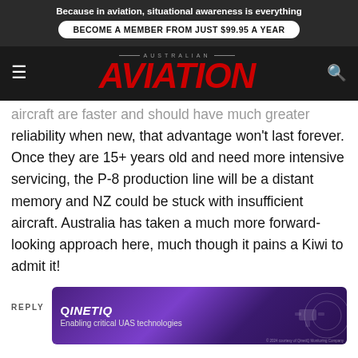Because in aviation, situational awareness is everything
BECOME A MEMBER FROM JUST $99.95 A YEAR
AUSTRALIAN AVIATION
aircraft are faster and should have much greater reliability when new, that advantage won't last forever. Once they are 15+ years old and need more intensive servicing, the P-8 production line will be a distant memory and NZ could be stuck with insufficient aircraft. Australia has taken a much more forward-looking approach here, much though it pains a Kiwi to admit it!
REPLY
[Figure (illustration): QinetiQ advertisement banner: purple gradient background with drone/UAS imagery. Text reads 'QinetiQ – Enabling critical UAS technologies']